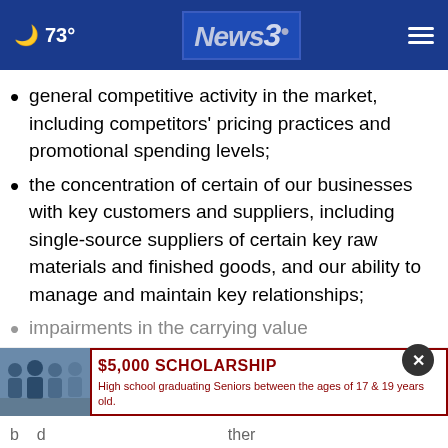73° News3
general competitive activity in the market, including competitors' pricing practices and promotional spending levels;
the concentration of certain of our businesses with key customers and suppliers, including single-source suppliers of certain key raw materials and finished goods, and our ability to manage and maintain key relationships;
impairments in the carrying value
[Figure (infographic): Advertisement for $5,000 scholarship for high school graduating Seniors between the ages of 17 & 19 years old, with a group photo of students.]